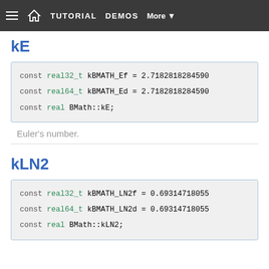≡ 🏠 TUTORIAL  DEMOS  More ▼
kE
const real32_t kBMATH_Ef = 2.7182818284590
const real64_t kBMATH_Ed = 2.7182818284590
const real BMath::kE;
Euler's number.
kLN2
const real32_t kBMATH_LN2f = 0.69314718055
const real64_t kBMATH_LN2d = 0.69314718055
const real BMath::kLN2;